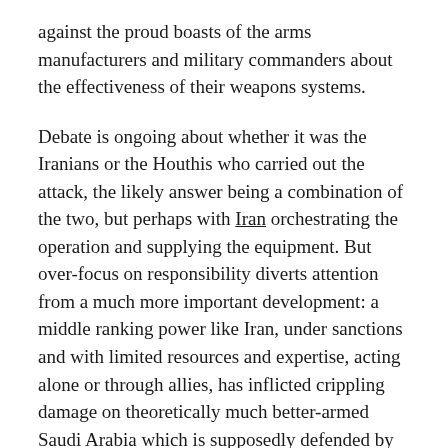against the proud boasts of the arms manufacturers and military commanders about the effectiveness of their weapons systems.
Debate is ongoing about whether it was the Iranians or the Houthis who carried out the attack, the likely answer being a combination of the two, but perhaps with Iran orchestrating the operation and supplying the equipment. But over-focus on responsibility diverts attention from a much more important development: a middle ranking power like Iran, under sanctions and with limited resources and expertise, acting alone or through allies, has inflicted crippling damage on theoretically much better-armed Saudi Arabia which is supposedly defended by the US, the world's greatest military super-power.